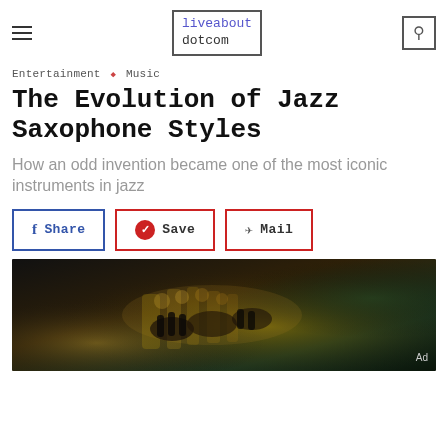liveabout dotcom
Entertainment ◆ Music
The Evolution of Jazz Saxophone Styles
How an odd invention became one of the most iconic instruments in jazz
Share  Save  Mail
[Figure (photo): Close-up photograph of hands holding a brass saxophone, dark background with green tones]